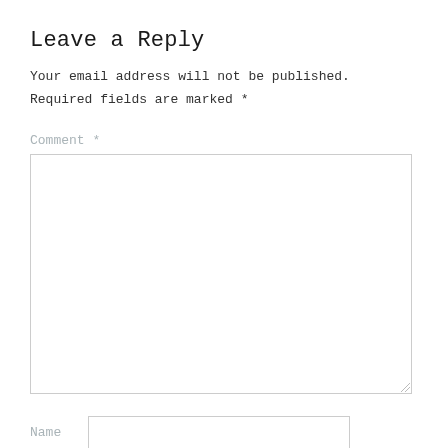Leave a Reply
Your email address will not be published.
Required fields are marked *
Comment *
Name